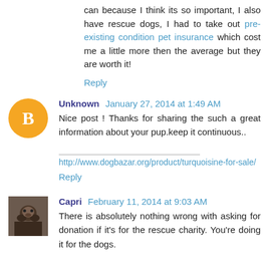can because I think its so important, I also have rescue dogs, I had to take out pre-existing condition pet insurance which cost me a little more then the average but they are worth it!
Reply
Unknown January 27, 2014 at 1:49 AM
Nice post ! Thanks for sharing the such a great information about your pup.keep it continuous..
http://www.dogbazar.org/product/turquoisine-for-sale/
Reply
Capri February 11, 2014 at 9:03 AM
There is absolutely nothing wrong with asking for donation if it's for the rescue charity. You're doing it for the dogs.